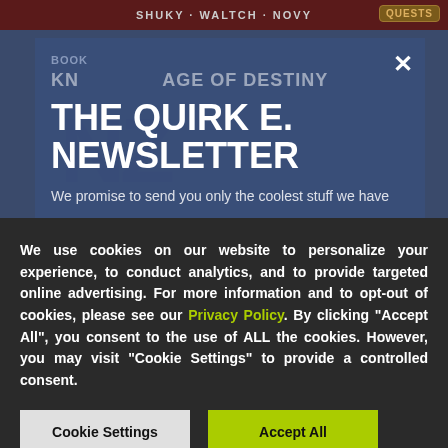SHUKY · WALTCH · NOVY   QUESTS
BOOK
THE QUIRK E. NEWSLETTER
We promise to send you only the coolest stuff we have
We use cookies on our website to personalize your experience, to conduct analytics, and to provide targeted online advertising. For more information and to opt-out of cookies, please see our Privacy Policy. By clicking "Accept All", you consent to the use of ALL the cookies. However, you may visit "Cookie Settings" to provide a controlled consent.